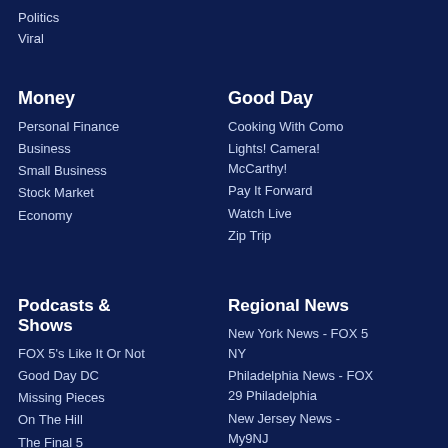Politics
Viral
Money
Personal Finance
Business
Small Business
Stock Market
Economy
Good Day
Cooking With Como
Lights! Camera! McCarthy!
Pay It Forward
Watch Live
Zip Trip
Podcasts & Shows
FOX 5's Like It Or Not
Good Day DC
Missing Pieces
On The Hill
The Final 5
Regional News
New York News - FOX 5 NY
Philadelphia News - FOX 29 Philadelphia
New Jersey News - My9NJ